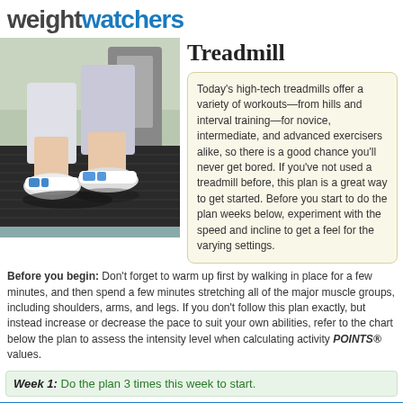weightwatchers
Treadmill
[Figure (photo): Close-up photo of a person's legs and feet on a treadmill belt, wearing white athletic shoes and athletic shorts.]
Today's high-tech treadmills offer a variety of workouts—from hills and interval training—for novice, intermediate, and advanced exercisers alike, so there is a good chance you'll never get bored. If you've not used a treadmill before, this plan is a great way to get started. Before you start to do the plan weeks below, experiment with the speed and incline to get a feel for the varying settings.
Before you begin: Don't forget to warm up first by walking in place for a few minutes, and then spend a few minutes stretching all of the major muscle groups, including shoulders, arms, and legs. If you don't follow this plan exactly, but instead increase or decrease the pace to suit your own abilities, refer to the chart below the plan to assess the intensity level when calculating activity POINTS® values.
Week 1: Do the plan 3 times this week to start.
| Speed and Incline | Time | Total Time Per Workout |
| --- | --- | --- |